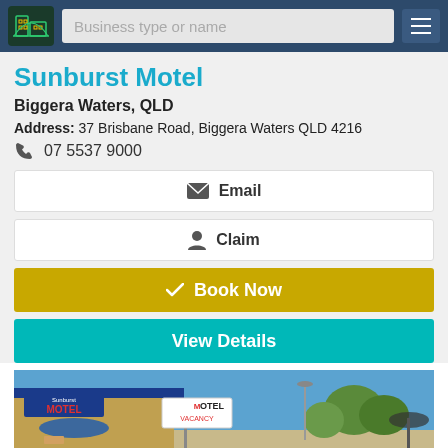Business type or name
Sunburst Motel
Biggera Waters, QLD
Address: 37 Brisbane Road, Biggera Waters QLD 4216
07 5537 9000
Email
Claim
Book Now
View Details
[Figure (photo): Exterior photo of Sunburst Motel showing building with blue signage reading MOTEL and a roadside sign saying MOTEL VACANCY, blue sky in background, trees visible]